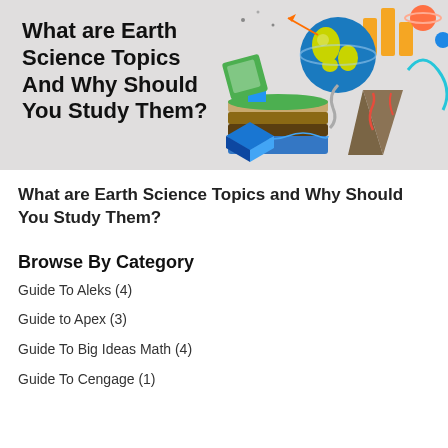[Figure (illustration): Banner with gray background showing bold title text on the left and a colorful isometric Earth science illustration on the right featuring a globe, volcano, terrain layers, planets, bar charts, and space elements.]
What are Earth Science Topics and Why Should You Study Them?
Browse By Category
Guide To Aleks (4)
Guide to Apex (3)
Guide To Big Ideas Math (4)
Guide To Cengage (1)